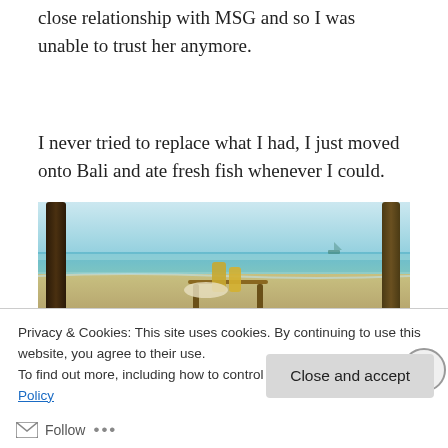close relationship with MSG and so I was unable to trust her anymore.
I never tried to replace what I had, I just moved onto Bali and ate fresh fish whenever I could.
[Figure (photo): Beach scene viewed from between bamboo poles, showing turquoise ocean water, sandy beach, and table with items in the foreground.]
Privacy & Cookies: This site uses cookies. By continuing to use this website, you agree to their use.
To find out more, including how to control cookies, see here: Cookie Policy
Close and accept
Follow